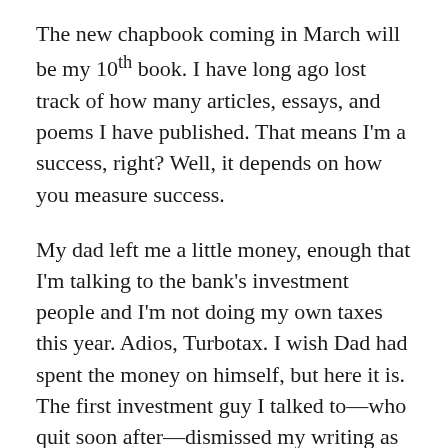The new chapbook coming in March will be my 10th book. I have long ago lost track of how many articles, essays, and poems I have published. That means I'm a success, right? Well, it depends on how you measure success.
My dad left me a little money, enough that I'm talking to the bank's investment people and I'm not doing my own taxes this year. Adios, Turbotax. I wish Dad had spent the money on himself, but here it is. The first investment guy I talked to—who quit soon after—dismissed my writing as a hobby. He said since it wasn't bringing in much income, I don't have to do it anymore. Say what?